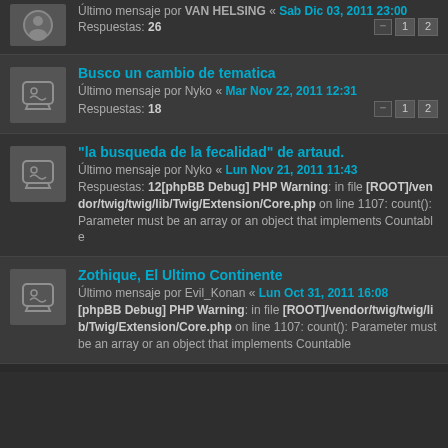Último mensaje por VAN HELSING « Sab Dic 03, 2011 23:00
Respuestas: 26
Busco un cambio de tematica
Último mensaje por Nyko « Mar Nov 22, 2011 12:31
Respuestas: 18
"la busqueda de la fecalidad" de artaud.
Último mensaje por Nyko « Lun Nov 21, 2011 11:43
Respuestas: 12[phpBB Debug] PHP Warning: in file [ROOT]/vendor/twig/twig/lib/Twig/Extension/Core.php on line 1107: count(): Parameter must be an array or an object that implements Countable
Zothique, El Ultimo Continente
Último mensaje por Evil_Konan « Lun Oct 31, 2011 16:08
[phpBB Debug] PHP Warning: in file [ROOT]/vendor/twig/twig/lib/Twig/Extension/Core.php on line 1107: count(): Parameter must be an array or an object that implements Countable